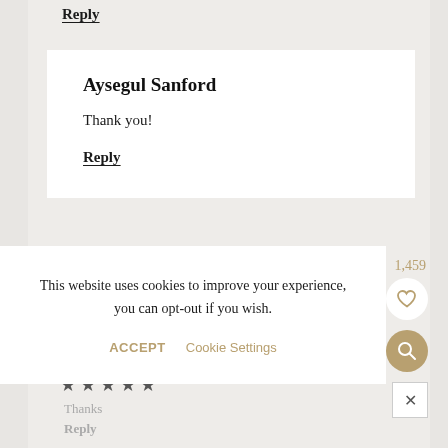Reply
Aysegul Sanford
Thank you!
Reply
This website uses cookies to improve your experience, you can opt-out if you wish.
ACCEPT
Cookie Settings
1,459
Thanks
Reply